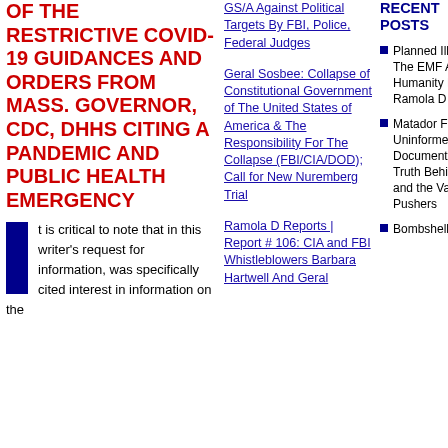OF THE RESTRICTIVE COVID-19 GUIDANCES AND ORDERS FROM MASS. GOVERNOR, CDC, DHHS CITING A PANDEMIC AND PUBLIC HEALTH EMERGENCY
It is critical to note that in this writer's request for information, was specifically cited interest in information on the
GS/A Against Political Targets By FBI, Police, Federal Judges
Geral Sosbee: Collapse of Constitutional Government of The United States of America & The Responsibility For The Collapse (FBI/CIA/DOD); Call for New Nuremberg Trial
Ramola D Reports | Report # 106: CIA and FBI Whistleblowers Barbara Hartwell And Geral
RECENT POSTS
Planned Illusions | The EMF Assault on Humanity Featuring Ramola D
Matador Films | Uninformed Consent: Document on the Truth Behind COVID and the Vaccine Pushers
Bombshell Outspoker